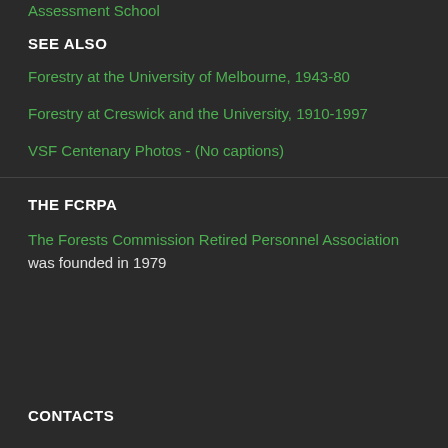Assessment School
SEE ALSO
Forestry at the University of Melbourne, 1943-80
Forestry at Creswick and the University, 1910-1997
VSF Centenary Photos - (No captions)
THE FCRPA
The Forests Commission Retired Personnel Association was founded in 1979
CONTACTS